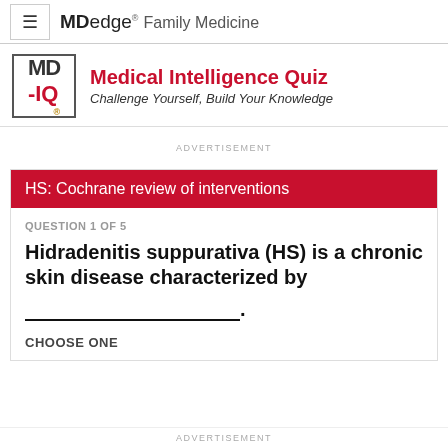MDedge Family Medicine
[Figure (logo): MD-IQ logo with red dash and gold IQ text in bordered box]
Medical Intelligence Quiz
Challenge Yourself, Build Your Knowledge
ADVERTISEMENT
HS: Cochrane review of interventions
QUESTION 1 OF 5
Hidradenitis suppurativa (HS) is a chronic skin disease characterized by _______________________. CHOOSE ONE
ADVERTISEMENT